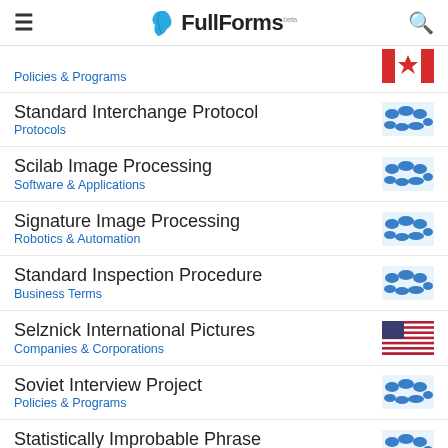FullForms (beta)
Policies & Programs
Standard Interchange Protocol
Protocols
Scilab Image Processing
Software & Applications
Signature Image Processing
Robotics & Automation
Standard Inspection Procedure
Business Terms
Selznick International Pictures
Companies & Corporations
Soviet Interview Project
Policies & Programs
Statistically Improbable Phrase
General Computing